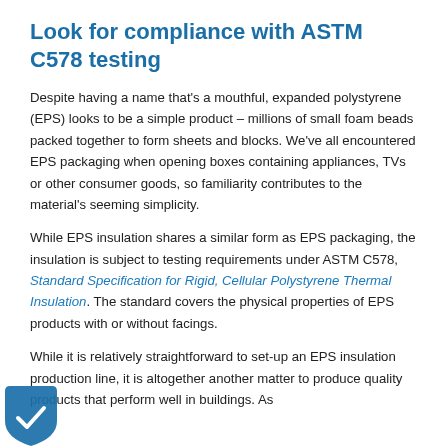Look for compliance with ASTM C578 testing
Despite having a name that's a mouthful, expanded polystyrene (EPS) looks to be a simple product – millions of small foam beads packed together to form sheets and blocks. We've all encountered EPS packaging when opening boxes containing appliances, TVs or other consumer goods, so familiarity contributes to the material's seeming simplicity.
While EPS insulation shares a similar form as EPS packaging, the insulation is subject to testing requirements under ASTM C578, Standard Specification for Rigid, Cellular Polystyrene Thermal Insulation. The standard covers the physical properties of EPS products with or without facings.
While it is relatively straightforward to set-up an EPS insulation production line, it is altogether another matter to produce quality products that perform well in buildings. As